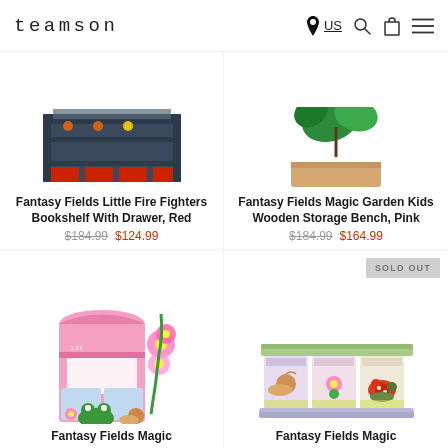teamson | US
[Figure (photo): Partial view of Fantasy Fields Little Fire Fighters Bookshelf With Drawer, Red — dark-themed bookshelf with firefighter decorations, top portion visible]
Fantasy Fields Little Fire Fighters Bookshelf With Drawer, Red
$184.99  $124.99
[Figure (photo): Partial view of Fantasy Fields Magic Garden Kids Wooden Storage Bench, Pink — green leaf/plant decoration visible at top]
Fantasy Fields Magic Garden Kids Wooden Storage Bench, Pink
$184.99  $164.99
[Figure (photo): Fantasy Fields Magic Garden pink wooden bookshelf with flower and butterfly decorations, frog at base]
Fantasy Fields Magic
[Figure (photo): Fantasy Fields Magic Garden storage bench with three fabric bins featuring snail, ladybug, and turtle designs — marked SOLD OUT]
Fantasy Fields Magic